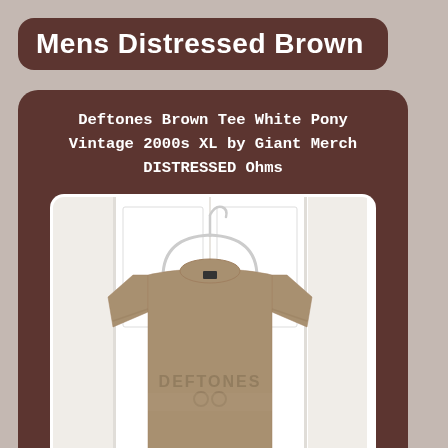Mens Distressed Brown
Deftones Brown Tee White Pony Vintage 2000s XL by Giant Merch DISTRESSED Ohms
[Figure (photo): Brown Deftones t-shirt hanging on a white hanger in front of a white door, with faded Deftones logo printed on the chest area]